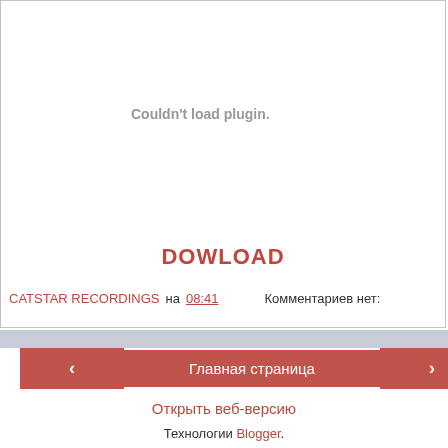Couldn't load plugin.
DOWLOAD
CATSTAR RECORDINGS на 08:41    Комментариев нет:
‹
Главная страница
›
Открыть веб-версию
Технологии Blogger.